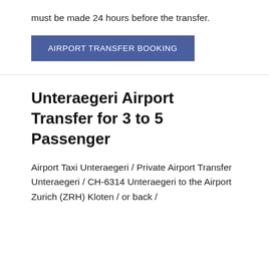must be made 24 hours before the transfer.
AIRPORT TRANSFER BOOKING
Unteraegeri Airport Transfer for 3 to 5 Passenger
Airport Taxi Unteraegeri / Private Airport Transfer Unteraegeri / CH-6314 Unteraegeri to the Airport Zurich (ZRH) Kloten / or back /